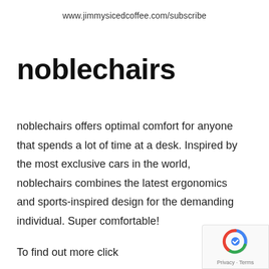www.jimmysicedcoffee.com/subscribe
noblechairs
noblechairs offers optimal comfort for anyone that spends a lot of time at a desk. Inspired by the most exclusive cars in the world, noblechairs combines the latest ergonomics and sports-inspired design for the demanding individual. Super comfortable!
To find out more click
[Figure (logo): reCAPTCHA badge with Privacy and Terms text]